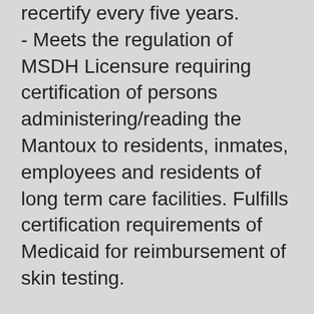recertify every five years.
- Meets the regulation of MSDH Licensure requiring certification of persons administering/reading the Mantoux to residents, inmates, employees and residents of long term care facilities. Fulfills certification requirements of Medicaid for reimbursement of skin testing.
Registration form can be downloaded at http://HealthyMS.com/tb.
Class fee is $50; discount of $10 if received at least 2 weeks in advance. PERSONAL CHECKS ARE NOT ACCEPTED!
NO WALK IN REGISTRATIONS! The minimum number of participants required for class to meet is 25.
Registration for a workshop is not final until BOTH the completed registration form and